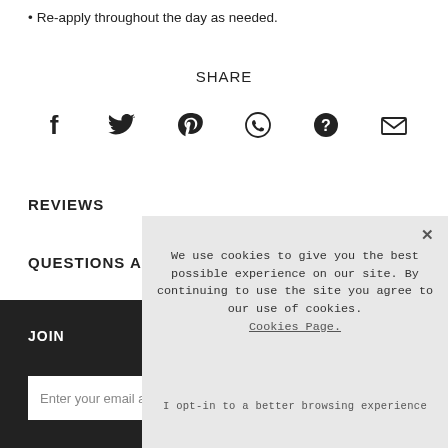Re-apply throughout the day as needed.
SHARE
[Figure (infographic): Six social sharing icons: Facebook, Twitter, Pinterest, WhatsApp, unknown (question mark), Email]
REVIEWS
QUESTIONS AN
JOIN
Enter your email a
We use cookies to give you the best possible experience on our site. By continuing to use the site you agree to our use of cookies. Cookies Page.
I opt-in to a better browsing experience
ACCEPT COOKIES